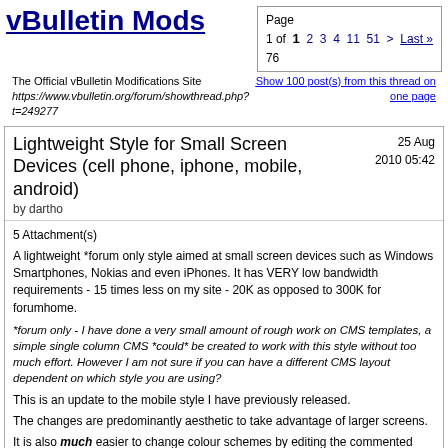vBulletin Mods
The Official vBulletin Modifications Site
https://www.vbulletin.org/forum/showthread.php?t=249277
Page 1 of 1 2 3 4 11 51 > Last »
76
Show 100 post(s) from this thread on one page
Lightweight Style for Small Screen Devices (cell phone, iphone, mobile, android)
by dartho
25 Aug 2010 05:42
5 Attachment(s)
A lightweight *forum only style aimed at small screen devices such as Windows Smartphones, Nokias and even iPhones. It has VERY low bandwidth requirements - 15 times less on my site - 20K as opposed to 300K for forumhome.
*forum only - I have done a very small amount of rough work on CMS templates, a simple single column CMS *could* be created to work with this style without too much effort. However I am not sure if you can have a different CMS layout dependent on which style you are using?
This is an update to the mobile style I have previously released.
The changes are predominantly aesthetic to take advantage of larger screens.
It is also much easier to change colour schemes by editing the commented CSS file.